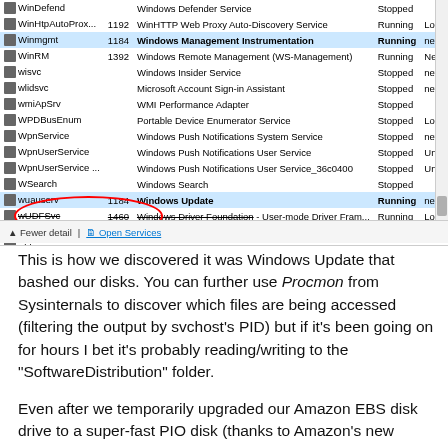[Figure (screenshot): Windows Task Manager Services tab showing a list of Windows services with columns for Name, PID, Description, Status, and Log On As. Highlighted rows include Winmgmt (PID 1184, Windows Management Instrumentation, Running, netsvc) and wuauserv (PID 1184, Windows Update, Running, netsvc). A red oval circles 'WSearch' and 'wuauserv' rows.]
This is how we discovered it was Windows Update that bashed our disks. You can further use Procmon from Sysinternals to discover which files are being accessed (filtering the output by svchost's PID) but if it's been going on for hours I bet it's probably reading/writing to the "SoftwareDistribution" folder.
Even after we temporarily upgraded our Amazon EBS disk drive to a super-fast PIO disk (thanks to Amazon's new feature that allows modifying drives on-the-fly!) the load